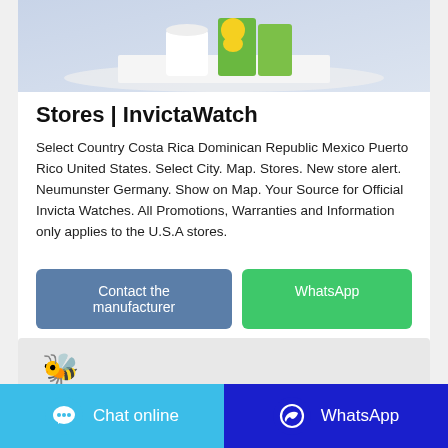[Figure (photo): Product image showing green/yellow supplement boxes on a white surface with blue background]
Stores | InvictaWatch
Select Country Costa Rica Dominican Republic Mexico Puerto Rico United States. Select City. Map. Stores. New store alert. Neumunster Germany. Show on Map. Your Source for Official Invicta Watches. All Promotions, Warranties and Information only applies to the U.S.A stores.
[Figure (screenshot): Two buttons: 'Contact the manufacturer' (blue) and 'WhatsApp' (green)]
[Figure (photo): Partial bottom image strip with bee emoji character on grey background]
[Figure (screenshot): Bottom footer bar with Chat online (blue) and WhatsApp (dark blue) buttons with icons]